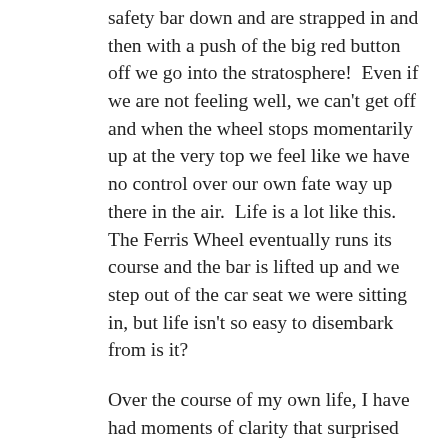safety bar down and are strapped in and then with a push of the big red button off we go into the stratosphere!  Even if we are not feeling well, we can't get off and when the wheel stops momentarily up at the very top we feel like we have no control over our own fate way up there in the air.  Life is a lot like this.   The Ferris Wheel eventually runs its course and the bar is lifted up and we step out of the car seat we were sitting in, but life isn't so easy to disembark from is it?
Over the course of my own life, I have had moments of clarity that surprised even me.  I have had the awesome discernment to recognize a moment of learning, a moment of opportunity and have always tried to stay in a